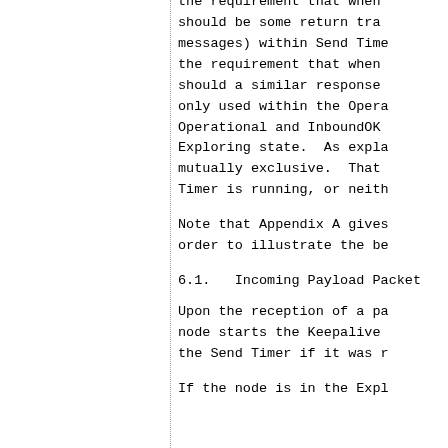the requirement that when ... should be some return tra... messages) within Send Time... the requirement that when... should a similar response... only used within the Opera... Operational and InboundOK... Exploring state. As expla... mutually exclusive. That ... Timer is running, or neith...
Note that Appendix A gives... order to illustrate the be...
6.1.  Incoming Payload Packet...
Upon the reception of a pa... node starts the Keepalive... the Send Timer if it was r...
If the node is in the Expl...